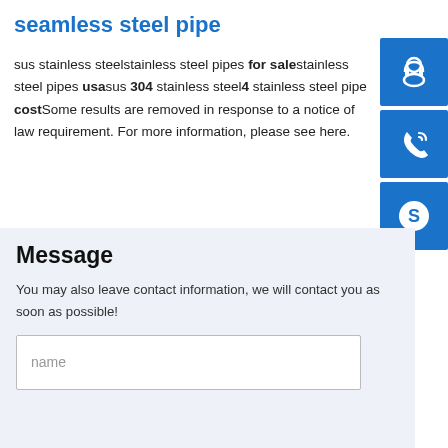seamless steel pipe
sus stainless steelstainless steel pipes for salestainless steel pipes usasus 304 stainless steel4 stainless steel pipe costSome results are removed in response to a notice of law requirement. For more information, please see here.
[Figure (illustration): Three blue square icon buttons stacked vertically on the right side: a headset/support icon, a phone/call icon, and a Skype logo icon]
Message
You may also leave contact information, we will contact you as soon as possible!
name